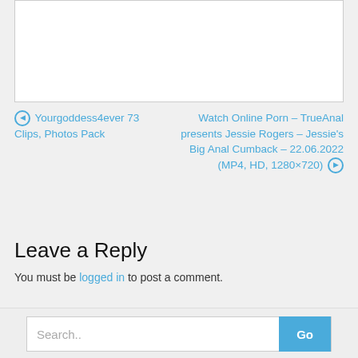[Figure (other): White rectangle with border, partially visible content area]
◀ Yourgoddess4ever 73 Clips, Photos Pack
Watch Online Porn – TrueAnal presents Jessie Rogers – Jessie's Big Anal Cumback – 22.06.2022 (MP4, HD, 1280×720) ▶
Leave a Reply
You must be logged in to post a comment.
Search...  Go